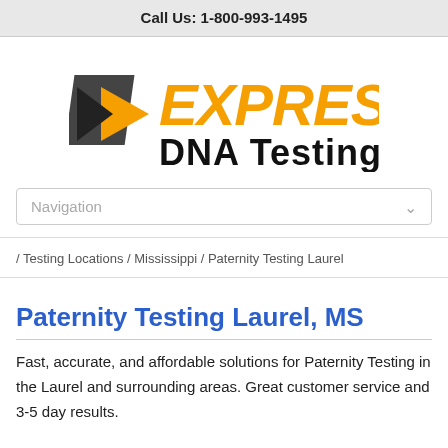Call Us: 1-800-993-1495
[Figure (logo): Express DNA Testing logo with orange arrow icon, orange italic EXPRESS text and black bold DNA Testing text]
Navigation
/ Testing Locations / Mississippi / Paternity Testing Laurel
Paternity Testing Laurel, MS
Fast, accurate, and affordable solutions for Paternity Testing in the Laurel and surrounding areas. Great customer service and 3-5 day results.